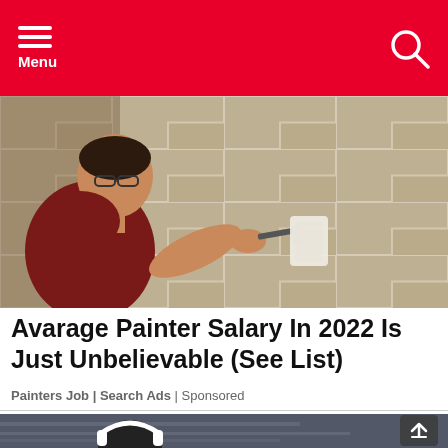Menu
[Figure (photo): A man wearing glasses and a dark red t-shirt painting a concrete block wall, using a small paint brush, viewed from the side in close-up.]
Avarage Painter Salary In 2022 Is Just Unbelievable (See List)
Painters Job | Search Ads | Sponsored
[Figure (photo): A person wearing white headphones, blurred background suggesting motion, partial view at the bottom of the page.]